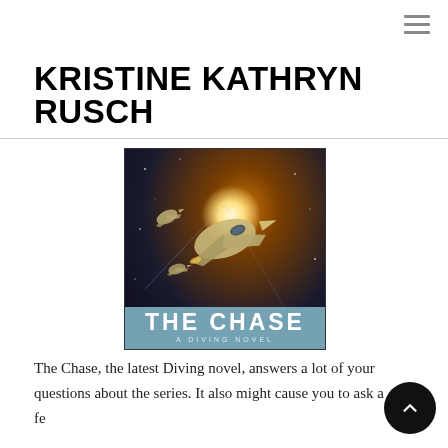≡ (hamburger menu icon)
KRISTINE KATHRYN RUSCH
[Figure (illustration): Book cover of 'The Chase: A Diving Novel' by Kristine Kathryn Rusch. Shows sci-fi spacecraft in space with an orange/brown nebula background. At the bottom is a teal/blue banner with 'THE CHASE' in large white letters and 'A DIVING NOVEL' in smaller letters below.]
The Chase, the latest Diving novel, answers a lot of your questions about the series. It also might cause you to ask a fe